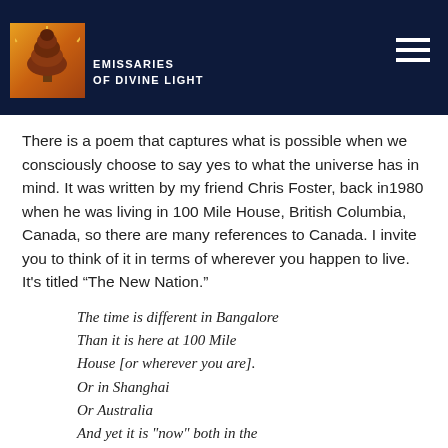EMISSARIES OF DIVINE LIGHT
There is a poem that captures what is possible when we consciously choose to say yes to what the universe has in mind. It was written by my friend Chris Foster, back in1980 when he was living in 100 Mile House, British Columbia, Canada, so there are many references to Canada. I invite you to think of it in terms of wherever you happen to live. It's titled “The New Nation.”
The time is different in Bangalore
Than it is here at 100 Mile House [or wherever you are].
Or in Shanghai
Or Australia
And yet it is "now" both in the